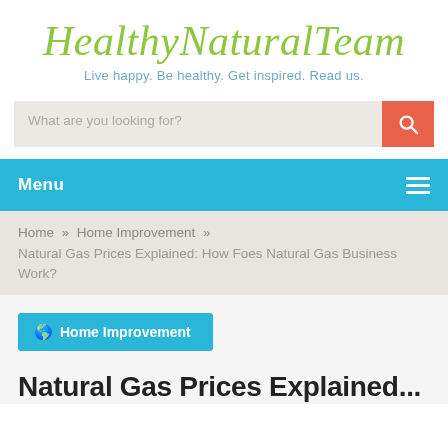HealthyNaturalTeam
Live happy. Be healthy. Get inspired. Read us.
What are you looking for?
Menu
Home » Home Improvement »
Natural Gas Prices Explained: How Foes Natural Gas Business Work?
Home Improvement
Natural Gas Prices Explained...